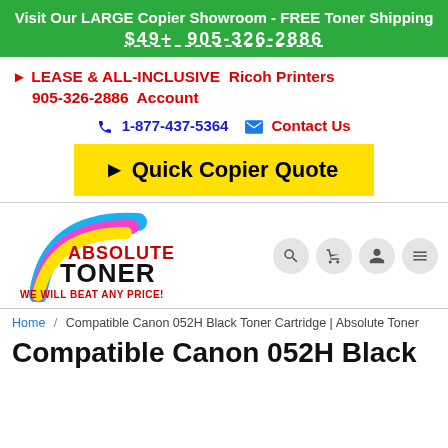Visit Our LARGE Copier Showroom - FREE Toner Shipping $49+ 905-326-2886
▶ LEASE & ALL-INCLUSIVE  Ricoh Printers 905-326-2886  Account
☎ 1-877-437-5364  ✉ Contact Us
▶ Quick Copier Quote
[Figure (logo): Absolute Toner logo with rainbow arc and tagline WE WILL BEAT ANY PRICE!]
Home / Compatible Canon 052H Black Toner Cartridge | Absolute Toner
Compatible Canon 052H Black